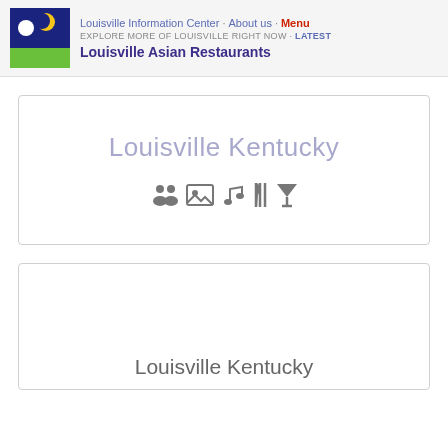Louisville Information Center · About us · Menu
EXPLORE MORE OF LOUISVILLE RIGHT NOW · Latest
Louisville Asian Restaurants
[Figure (screenshot): Card with 'Louisville Kentucky' text in light purple and row of category icons (people, photo, music, restaurant, cocktail)]
[Figure (screenshot): Second card with 'Louisville Kentucky' text in gray at the bottom]